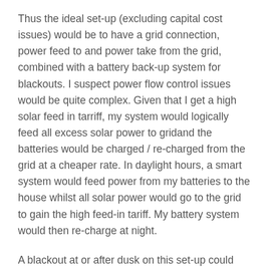Thus the ideal set-up (excluding capital cost issues) would be to have a grid connection, power feed to and power take from the grid, combined with a battery back-up system for blackouts. I suspect power flow control issues would be quite complex. Given that I get a high solar feed in tarriff, my system would logically feed all excess solar power to gridand the batteries would be charged / re-charged from the grid at a cheaper rate. In daylight hours, a smart system would feed power from my batteries to the house whilst all solar power would go to the grid to gain the high feed-in tariff. My battery system would then re-charge at night.
A blackout at or after dusk on this set-up could encounter depleted battery banks. Therefore the control system would have to place a limit on